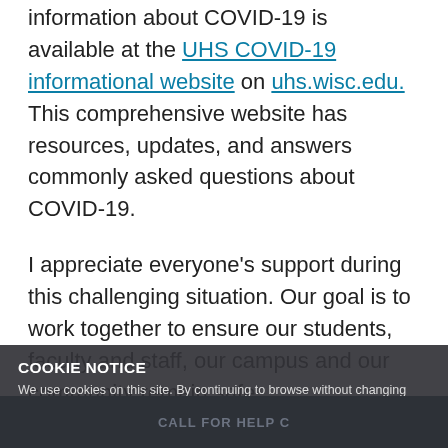information about COVID-19 is available at the UHS COVID-19 informational website on uhs.wisc.edu. This comprehensive website has resources, updates, and answers commonly asked questions about COVID-19.
I appreciate everyone's support during this challenging situation. Our goal is to work together to ensure our students, faculty and staff, our campus and our community remain safe.
Jake Baggott
Executive Director, University Health Services
COOKIE NOTICE
We use cookies on this site. By continuing to browse without changing your browser settings to block or delete cookies, you agree to the UW–Madison Privacy Notice.
GOT IT!
✕ Safety Exit
CALL FOR HELP C...